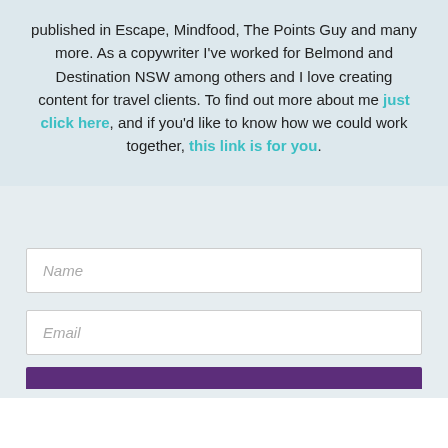published in Escape, Mindfood, The Points Guy and many more. As a copywriter I've worked for Belmond and Destination NSW among others and I love creating content for travel clients. To find out more about me just click here, and if you'd like to know how we could work together, this link is for you.
[Figure (other): A web form with Name and Email input fields and a purple submit button bar at the bottom, on a light blue-grey background.]